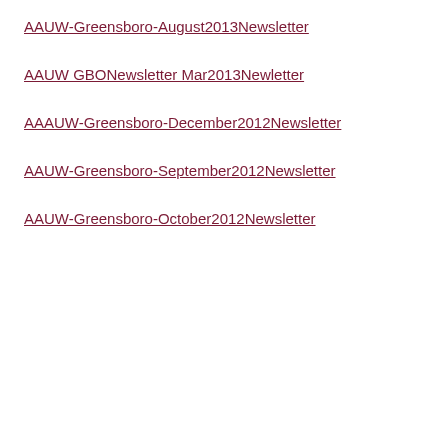AAUW-Greensboro-August2013Newsletter
AAUW GBONewsletter Mar2013Newletter
AAAUW-Greensboro-December2012Newsletter
AAUW-Greensboro-September2012Newsletter
AAUW-Greensboro-October2012Newsletter